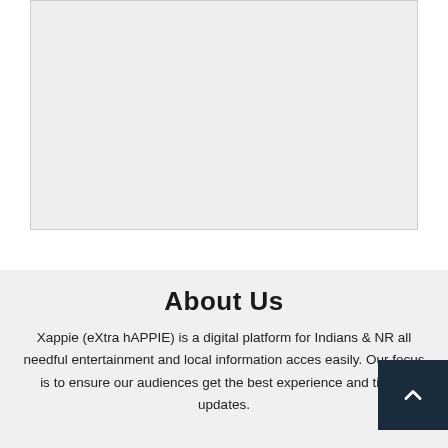[Figure (other): Light gray rectangular placeholder image area with border]
About Us
Xappie (eXtra hAPPIE) is a digital platform for Indians & NR all needful entertainment and local information acces easily. Our focus is to ensure our audiences get the best experience and timely updates.